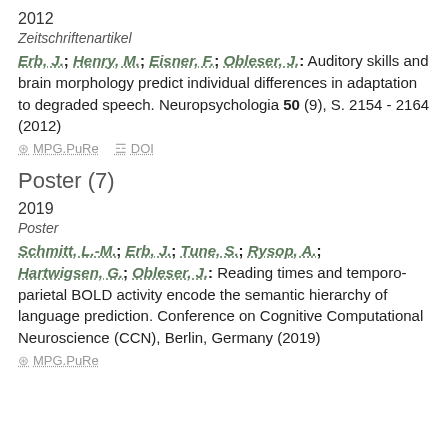2012
Zeitschriftenartikel
Erb, J.; Henry, M.; Eisner, F.; Obleser, J.: Auditory skills and brain morphology predict individual differences in adaptation to degraded speech. Neuropsychologia 50 (9), S. 2154 - 2164 (2012)
MPG.PuRe   DOI
Poster (7)
2019
Poster
Schmitt, L.-M.; Erb, J.; Tune, S.; Rysop, A.; Hartwigsen, G.; Obleser, J.: Reading times and temporo-parietal BOLD activity encode the semantic hierarchy of language prediction. Conference on Cognitive Computational Neuroscience (CCN), Berlin, Germany (2019)
MPG.PuRe